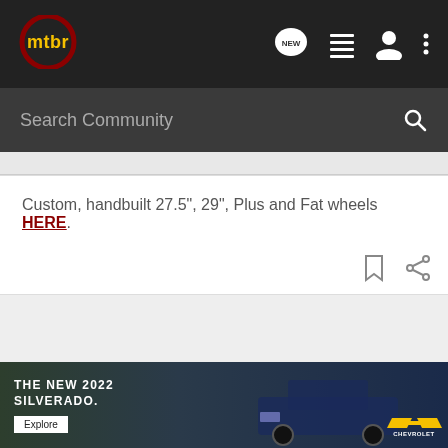[Figure (logo): MTBR logo — yellow text 'mtbr' inside a dark red circular ring, on dark background nav bar]
[Figure (screenshot): Navigation bar icons: NEW speech bubble, list/menu icon, user/person icon, three-dot more menu — white icons on dark background]
Search Community
Custom, handbuilt 27.5", 29", Plus and Fat wheels HERE.
[Figure (screenshot): Bookmark and share icons in gray on white background]
[Figure (photo): Chevrolet advertisement banner: 'THE NEW 2022 SILVERADO.' with Explore button, truck image on dark outdoor background, Chevrolet bowtie logo]